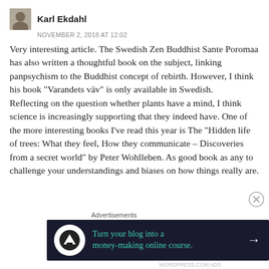Karl Ekdahl
NOVEMBER 2, 2018 AT 12:02
Very interesting article. The Swedish Zen Buddhist Sante Poromaa has also written a thoughtful book on the subject, linking panpsychism to the Buddhist concept of rebirth. However, I think his book “Varandets väv” is only available in Swedish.
Reflecting on the question whether plants have a mind, I think science is increasingly supporting that they indeed have. One of the more interesting books I’ve read this year is The “Hidden life of trees: What they feel, How they communicate – Discoveries from a secret world” by Peter Wohlleben. As good book as any to challenge your understandings and biases on how things really are.
[Figure (logo): Advertisement banner: Turn your blog into a money-making online course.]